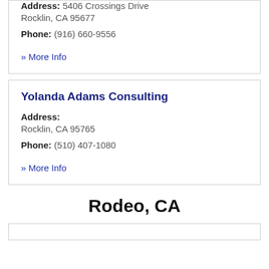Address: 5406 Crossings Drive Rocklin, CA 95677
Phone: (916) 660-9556
» More Info
Yolanda Adams Consulting
Address: Rocklin, CA 95765
Phone: (510) 407-1080
» More Info
Rodeo, CA